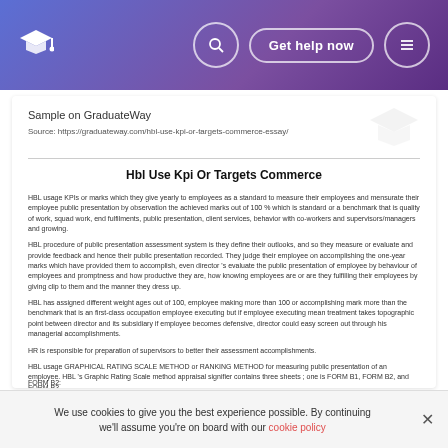Sample on GraduateWay | Source: https://graduateway.com/hbl-use-kpi-or-targets-commerce-essay/
Hbl Use Kpi Or Targets Commerce
HBL usage KPIs or marks which they give yearly to employees as a standard to measure their employees and mensurate their employee public presentation by observation the achieved marks out of 100 % which is standard or a benchmark that is quality of work, squad work, end fulfilments, public presentation, client services, behavior with co-workers and supervisors/managers and growing.
HBL procedure of public presentation assessment system is they define their outlooks, and so they measure or evaluate and provide feedback and hence their public presentation recorded. They judge their employee on accomplishing the one-year marks which have provided them to accomplish, even director 's evaluate the public presentation of employee by behaviour of employees and promptness and how productive they are, how knowing employees are or are they fulfilling their employees by giving clip to them and the manner they dress up.
HBL has assigned different weight ages out of 100, employee making more than 100 or accomplishing mark more than the benchmark that is an first-class occupation employee executing but if employee executing mean treatment takes topographic point between director and its subsidiary if employee becomes defensive, director could easy screen out through his managerial accomplishments.
HR is responsible for preparation of supervisors to better their assessment accomplishments.
HBL usage GRAPHICAL RATING SCALE METHOD or RANKING METHOD for measuring public presentation of an employee. HBL 's Graphic Rating Scale method appraisal signifier contains three sheets ; one is FORM B1, FORM B2, and FORM B3.
FORM B2:
We use cookies to give you the best experience possible. By continuing we'll assume you're on board with our cookie policy